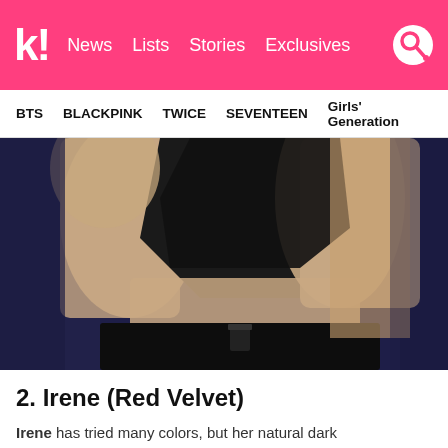k! News  Lists  Stories  Exclusives
BTS  BLACKPINK  TWICE  SEVENTEEN  Girls' Generation
[Figure (photo): Close-up photo of Irene from Red Velvet wearing a black crop top and black bottoms, posing against a dark blue background, midriff visible]
2. Irene (Red Velvet)
Irene has tried many colors, but her natural dark...